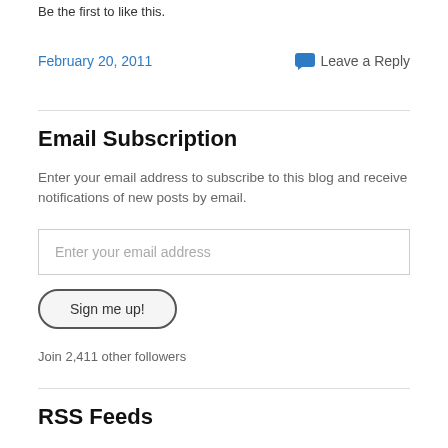Be the first to like this.
February 20, 2011
Leave a Reply
Email Subscription
Enter your email address to subscribe to this blog and receive notifications of new posts by email.
Enter your email address
Sign me up!
Join 2,411 other followers
RSS Feeds